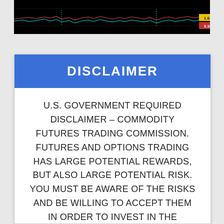[Figure (screenshot): Trading chart screenshot showing price lines (red and cyan) on a black background with price labels 1.6217 (yellow) and 3.3435 (red) on the right side.]
DISCLAIMER
U.S. GOVERNMENT REQUIRED DISCLAIMER – COMMODITY FUTURES TRADING COMMISSION. FUTURES AND OPTIONS TRADING HAS LARGE POTENTIAL REWARDS, BUT ALSO LARGE POTENTIAL RISK. YOU MUST BE AWARE OF THE RISKS AND BE WILLING TO ACCEPT THEM IN ORDER TO INVEST IN THE FUTURES AND OPTIONS MARKETS.